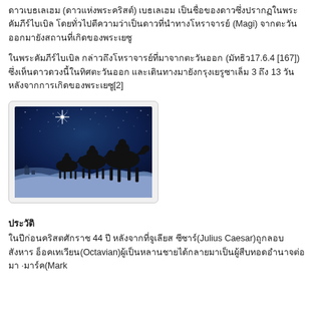ดาวเบธเลเฮม (ดาวแห่งพระคริสต์) เบธเลเฮม เป็นชื่อของดาวซึ่งปรากฏในพระคัมภีร์ไบเบิล โดยทั่วไปตีความว่าเป็นดาวที่นำทางโหราจารย์ (Magi) จากตะวันออกมายังสถานที่เกิดของพระเยซู
ในพระคัมภีร์ไบเบิล กล่าวถึงโหราจารย์ที่มาจากตะวันออก (มัทธิว17.6.4 [167]) ซึ่งเห็นดาวดวงนี้ในทิศตะวันออก และเดินทางมายังกรุงเยรูซาเล็ม 3 ถึง 13 วันหลังจากการเกิดของพระเยซู[2]
[Figure (photo): Illustration of three wise men (Magi) riding camels across a desert at night under a starry blue sky with a bright star shining above.]
ประวัติ
ในปีก่อนคริสตศักราช 44 ปี หลังจากที่จูเลียส ซีซาร์(Julius Caesar)ถูกลอบสังหาร อ็อคเทเวียน(Octavian)ผู้เป็นหลานชายได้กลายมาเป็นผู้สืบทอดอำนาจต่อมา ·มาร์ค(Mark